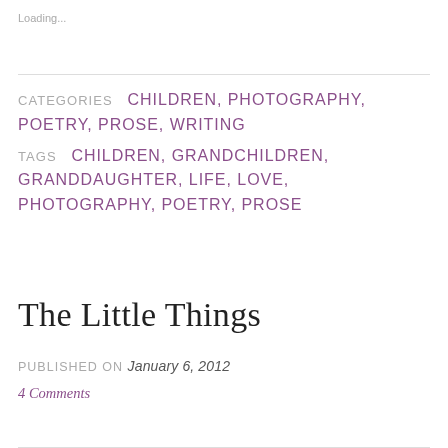Loading...
CATEGORIES  CHILDREN, PHOTOGRAPHY, POETRY, PROSE, WRITING
TAGS  CHILDREN, GRANDCHILDREN, GRANDDAUGHTER, LIFE, LOVE, PHOTOGRAPHY, POETRY, PROSE
The Little Things
PUBLISHED ON January 6, 2012
4 Comments